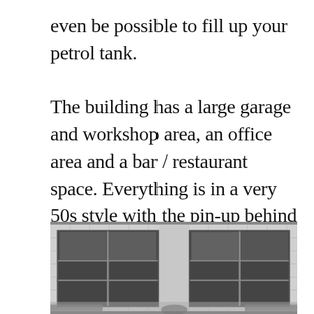even be possible to fill up your petrol tank. The building has a large garage and workshop area, an office area and a bar / restaurant space. Everything is in a very 50s style with the pin-up behind the counter and a Speedster in the workshop. All that's missing is the garage worker with a cap who comes to fill your tank with gas and wash your windscreen. After this delightful discovery, it's time to visit two shops with a gentleman rider's appeal - Riders Room and Vater & Sohn.
[Figure (photo): Black and white photograph of a building facade with large glass windows and white tiled exterior panels, showing a commercial/garage storefront.]